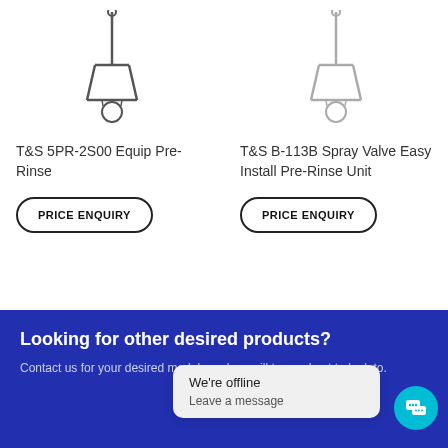[Figure (photo): Product image of T&S 5PR-2S00 pre-rinse unit, dark metallic fixture on white background]
T&S 5PR-2S00 Equip Pre-Rinse
PRICE ENQUIRY
[Figure (photo): Product image of T&S B-113B Spray Valve pre-rinse unit, light metallic fixture on white background]
T&S B-113B Spray Valve Easy Install Pre-Rinse Unit
PRICE ENQUIRY
Looking for other desired products?
Contact us for your desired models and we will try our best to look to.